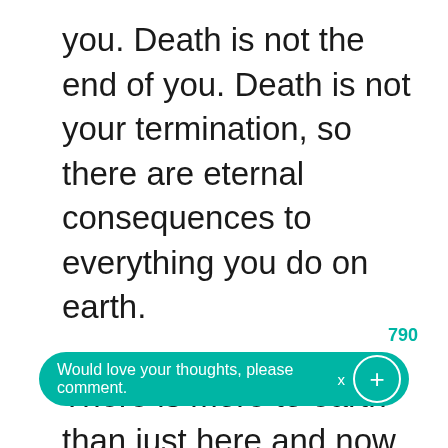you. Death is not the end of you. Death is not your termination, so there are eternal consequences to everything you do on earth.

There is more to earth than just here and now. Life on earth is just the dress rehearsal before the real production. You will spend far more time on the other side of death — in eternity — than you will here. Earth is a staging area, the pres... in